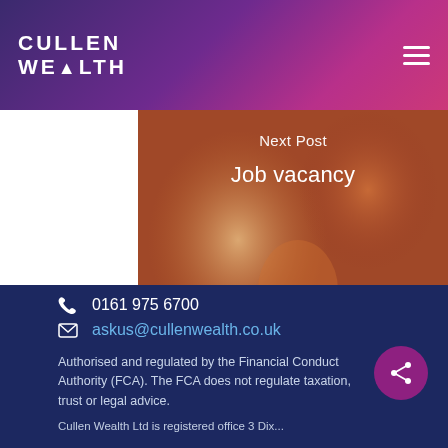CULLEN WEALTH
[Figure (photo): Close-up photo of autumnal abstract warm-toned blurred background with orange and amber hues, overlaid with white text 'Next Post' and 'Job vacancy']
Next Post
Job vacancy
0161 975 6700
askus@cullenwealth.co.uk
Authorised and regulated by the Financial Conduct Authority (FCA). The FCA does not regulate taxation, trust or legal advice.
Cullen Wealth Ltd is registered office 3 Dix...